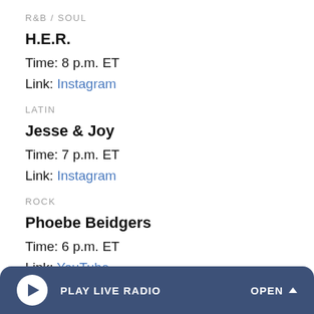R&B / SOUL
H.E.R.
Time: 8 p.m. ET
Link: Instagram
LATIN
Jesse & Joy
Time: 7 p.m. ET
Link: Instagram
ROCK
Phoebe Beidgers
Time: 6 p.m. ET
Link: YouTube
PLAY LIVE RADIO   OPEN